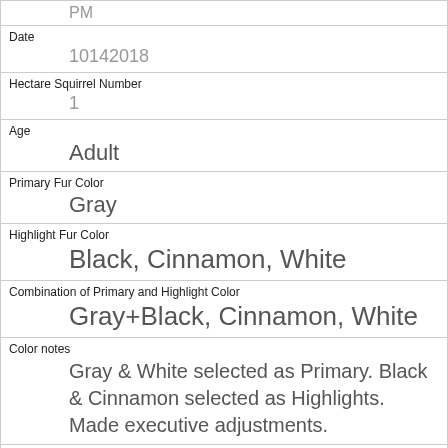| PM |
| Date | 10142018 |
| Hectare Squirrel Number | 1 |
| Age | Adult |
| Primary Fur Color | Gray |
| Highlight Fur Color | Black, Cinnamon, White |
| Combination of Primary and Highlight Color | Gray+Black, Cinnamon, White |
| Color notes | Gray & White selected as Primary. Black & Cinnamon selected as Highlights. Made executive adjustments. |
| Location | Ground Plane |
| Above Ground Sighter Measurement | FALSE |